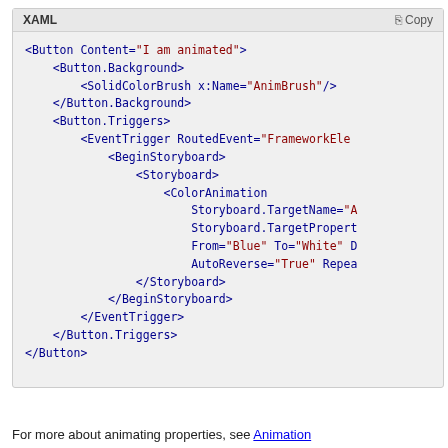[Figure (screenshot): XAML code block showing a Button with animated background using ColorAnimation inside EventTrigger and Storyboard. Header shows 'XAML' label and 'Copy' button.]
For more about animating properties, see Animation